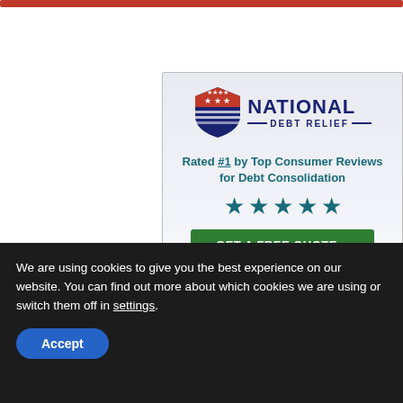[Figure (logo): National Debt Relief advertisement banner with shield logo, five teal stars, and green 'GET A FREE QUOTE' button. Text: 'Rated #1 by Top Consumer Reviews for Debt Consolidation']
We are using cookies to give you the best experience on our website. You can find out more about which cookies we are using or switch them off in settings.
Accept